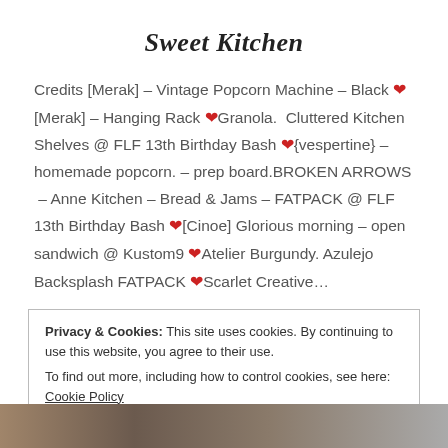Sweet Kitchen
Credits [Merak] – Vintage Popcorn Machine – Black ❤ [Merak] – Hanging Rack ❤Granola.  Cluttered Kitchen Shelves @ FLF 13th Birthday Bash ❤{vespertine} – homemade popcorn. – prep board.BROKEN ARROWS  – Anne Kitchen – Bread & Jams – FATPACK @ FLF 13th Birthday Bash ❤[Cinoe] Glorious morning – open sandwich @ Kustom9 ❤Atelier Burgundy. Azulejo Backsplash FATPACK ❤Scarlet Creative…
Privacy & Cookies: This site uses cookies. By continuing to use this website, you agree to their use.
To find out more, including how to control cookies, see here: Cookie Policy
Close and accept